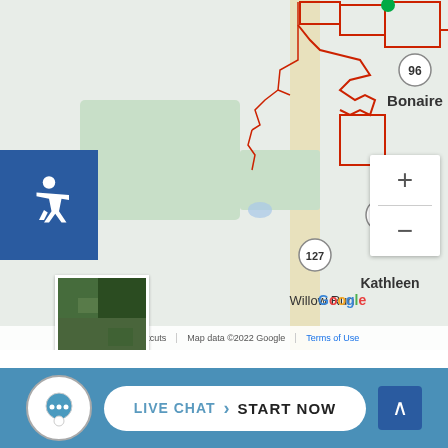[Figure (map): Google Map showing the Bonaire, Kathleen, and Willow Run area in Georgia with red boundary outlines, route markers for 96, 127, and 129, zoom controls, satellite thumbnail, and accessibility icon. Map footer shows keyboard shortcuts, Map data ©2022 Google, Terms of Use.]
Georgia Military Defense Lawyers
Albany GA Military Defense Lawyers
Athens GA Military Defense Lawyers
Atlanta GA Military Defense Lawyers
Augusta GA Military Defense Lawyers